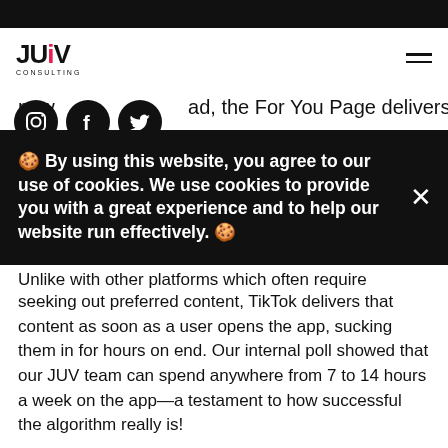[Figure (logo): JUV Consulting logo with stylized text and social media icons (Instagram, Facebook, Twitter)]
new i … ad, the For You Page delivers
🍪 By using this website, you agree to our use of cookies. We use cookies to provide you with a great experience and to help our website run effectively. 🍪
Unlike with other platforms which often require seeking out preferred content, TikTok delivers that content as soon as a user opens the app, sucking them in for hours on end. Our internal poll showed that our JUV team can spend anywhere from 7 to 14 hours a week on the app—a testament to how successful the algorithm really is!